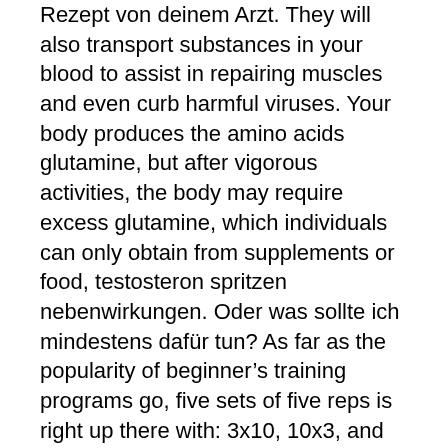Rezept von deinem Arzt. They will also transport substances in your blood to assist in repairing muscles and even curb harmful viruses. Your body produces the amino acids glutamine, but after vigorous activities, the body may require excess glutamine, which individuals can only obtain from supplements or food, testosteron spritzen nebenwirkungen. Oder was sollte ich mindestens daf&uuml;r tun? As far as the popularity of beginner's training programs go, five sets of five reps is right up there with: 3x10, 10x3, and the ever-lasting 1x20 squat program, which inspired the weight room battle-cry, "Squats and milk, testosteron spritzen oder tabletten köpa testosteron gel på nätet. Some of these side effects of anabolic steroids mentioned by Arnold Schwarzenegger are: Liver Disease Kidney Disease Cardiovascular Conditions Low Sex Drive Aggression With many more, testosteron spritzen oder tabletten anabolika